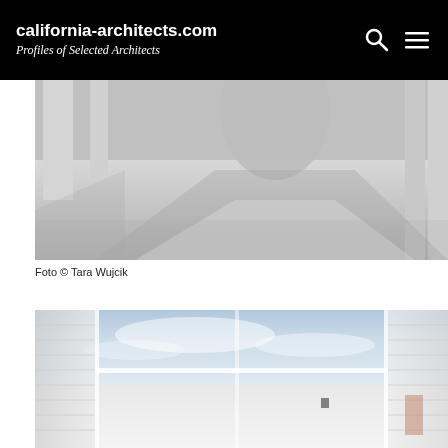california-architects.com
Profiles of Selected Architects
[Figure (photo): Architectural exterior photo showing concrete plaza with columns, curved wall element, and dramatic shadow patterns. Photo by Tara Wujcik.]
Foto © Tara Wujcik
[Figure (photo): Architectural interior photo looking up through a glass and white metal structure toward a cloudy sky, with translucent panel walls on each side.]